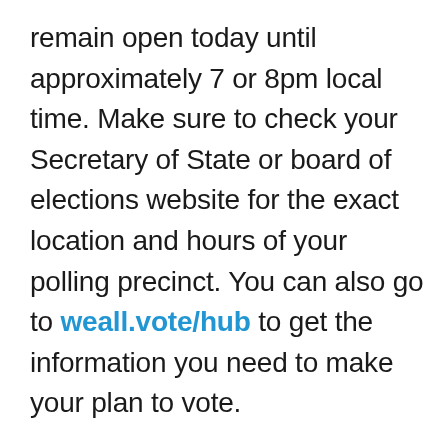remain open today until approximately 7 or 8pm local time. Make sure to check your Secretary of State or board of elections website for the exact location and hours of your polling precinct. You can also go to weall.vote/hub to get the information you need to make your plan to vote.